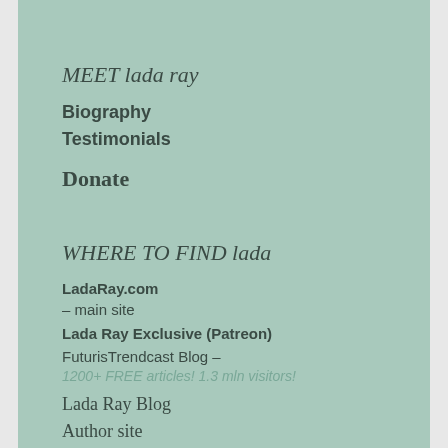MEET lada ray
Biography
Testimonials
Donate
WHERE TO FIND lada
LadaRay.com - main site
Lada Ray Exclusive (Patreon)
FuturisTrendcast Blog – 1200+ FREE articles! 1.3 mln visitors!
Lada Ray Blog
Author site